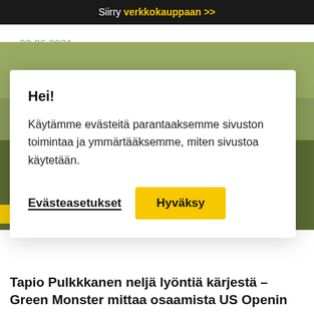Siirry verkkokauppaan >>
23.06.2021
[Figure (photo): Golfer walking on green grass field, dark clothing, outdoor daylight]
Hei!

Käytämme evästeitä parantaaksemme sivuston toimintaa ja ymmärtääksemme, miten sivustoa käytetään.

Evästeasetukset    Hyväksy
DP WORLD TOUR
Tapio Pulkkkanen neljä lyöntiä kärjestä – Green Monster mittaa osaamista US Openin